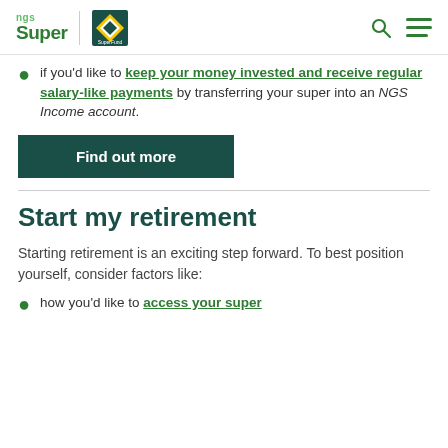ngs Super
if you'd like to keep your money invested and receive regular salary-like payments by transferring your super into an NGS Income account.
Find out more
Start my retirement
Starting retirement is an exciting step forward. To best position yourself, consider factors like:
how you'd like to access your super